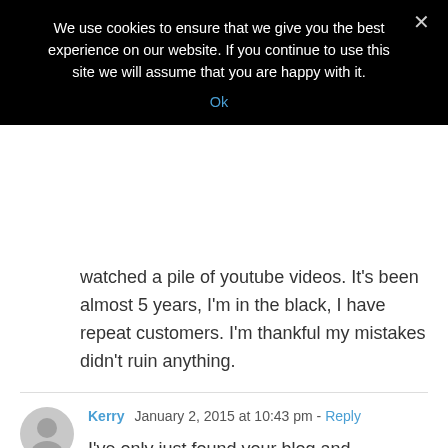We use cookies to ensure that we give you the best experience on our website. If you continue to use this site we will assume that you are happy with it.
Ok
watched a pile of youtube videos. It's been almost 5 years, I'm in the black, I have repeat customers. I'm thankful my mistakes didn't ruin anything.
Kerry  January 2, 2015 at 10:43 pm - Reply
[Figure (illustration): Generic user avatar icon — grey circle with a person silhouette]
I've only just found your blog and absolutely love it! I'm also impressed with your very gracious reply to comments. I received a soap making book for Christmas and just made my first batch